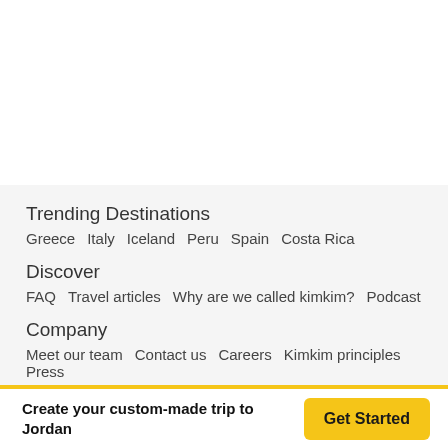Trending Destinations
Greece   Italy   Iceland   Peru   Spain   Costa Rica
Discover
FAQ   Travel articles   Why are we called kimkim?   Podcast
Company
Meet our team   Contact us   Careers   Kimkim principles   Press
Create your custom-made trip to Jordan
Get Started